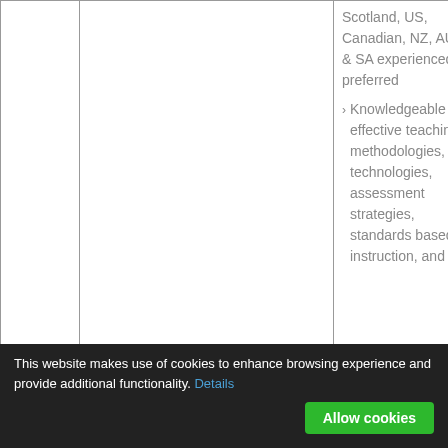|  |  | Scotland, US, Canadian, NZ, AUS & SA experienced is preferred
› Knowledgeable of effective teaching methodologies, technologies, assessment strategies, standards based instruction, and |
This website makes use of cookies to enhance browsing experience and provide additional functionality. Details